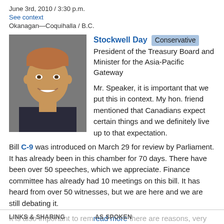June 3rd, 2010 / 3:30 p.m.
See context
Okanagan—Coquihalla / B.C.
[Figure (photo): Headshot photo of Stockwell Day, a middle-aged man smiling, wearing a dark suit, against a grey background.]
Stockwell Day Conservative President of the Treasury Board and Minister for the Asia-Pacific Gateway
Mr. Speaker, it is important that we put this in context. My hon. friend mentioned that Canadians expect certain things and we definitely live up to that expectation.
Bill C-9 was introduced on March 29 for review by Parliament. It has already been in this chamber for 70 days. There have been over 50 speeches, which we appreciate. Finance committee has already had 10 meetings on this bill. It has heard from over 50 witnesses, but we are here and we are still debating it.
It is also important to remember that there are reasons, very
LINKS & SHARING    AS SPOKEN